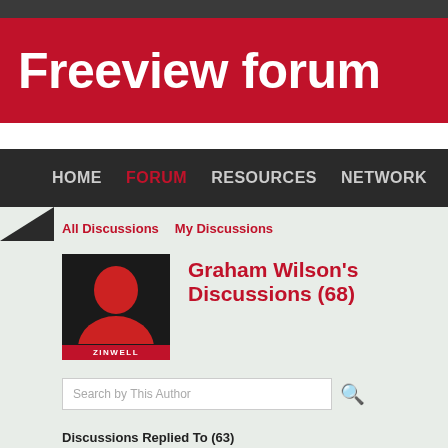Freeview forum
HOME  FORUM  RESOURCES  NETWORK
All Discussions   My Discussions
Graham Wilson's Discussions (68)
[Figure (illustration): User avatar silhouette in red on black background with ZINWELL label at bottom]
Search by This Author
Discussions Replied To (63)